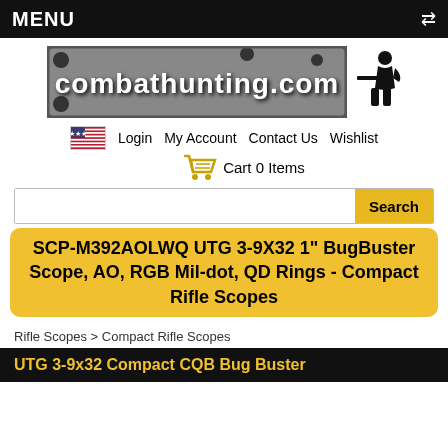MENU
[Figure (logo): combathunting.com logo with chain border graphic and military silhouette]
Login  My Account  Contact Us  Wishlist
Cart 0 Items
SCP-M392AOLWQ UTG 3-9X32 1" BugBuster Scope, AO, RGB Mil-dot, QD Rings - Compact Rifle Scopes
Rifle Scopes > Compact Rifle Scopes
UTG 3-9x32 Compact CQB Bug Buster